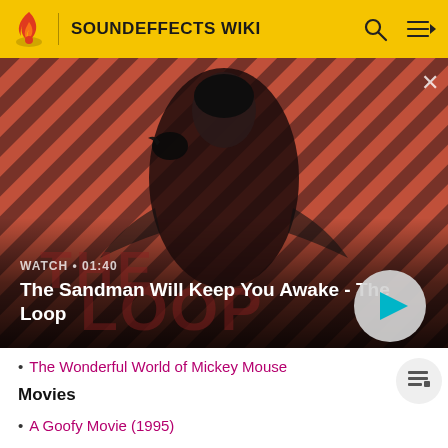SOUNDEFFECTS WIKI
[Figure (screenshot): Video banner showing a dark-cloaked figure with a raven on shoulder against a red and dark diagonal striped background. Text overlay reads WATCH • 01:40 and title The Sandman Will Keep You Awake - The Loop with a circular play button.]
The Wonderful World of Mickey Mouse
Movies
A Goofy Movie (1995)
Quest for Camelot (1998)
Shorts